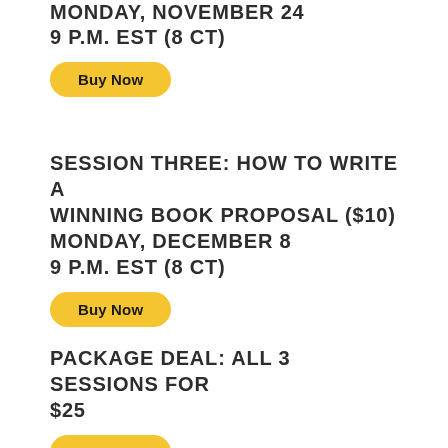MONDAY, NOVEMBER 24
9 P.M. EST (8 CT)
[Figure (other): Buy Now button (yellow rounded rectangle)]
SESSION THREE: HOW TO WRITE A WINNING BOOK PROPOSAL ($10)
MONDAY, DECEMBER 8
9 P.M. EST (8 CT)
[Figure (other): Buy Now button (yellow rounded rectangle)]
PACKAGE DEAL: ALL 3 SESSIONS FOR $25
[Figure (other): Buy Now button (yellow rounded rectangle)]